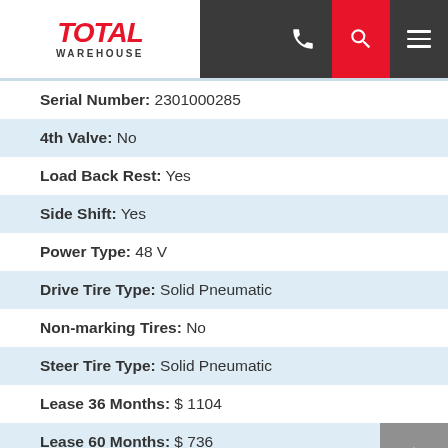[Figure (logo): Total Warehouse logo with red italic TOTAL text and dark WAREHOUSE label below]
Serial Number: 2301000285
4th Valve: No
Load Back Rest: Yes
Side Shift: Yes
Power Type: 48 V
Drive Tire Type: Solid Pneumatic
Non-marking Tires: No
Steer Tire Type: Solid Pneumatic
Lease 36 Months: $ 1104
Lease 60 Months: $ 736